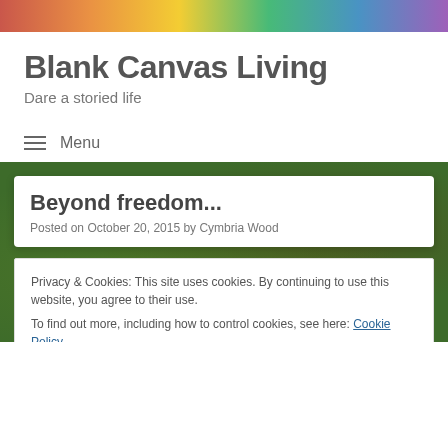[Figure (photo): Colorful header banner with fruit/vegetable colors - red, orange, yellow, green, blue, purple gradient]
Blank Canvas Living
Dare a storied life
≡  Menu
[Figure (photo): Dark green background with vegetables/herbs, article card overlay showing blog post]
Beyond freedom...
Posted on October 20, 2015 by Cymbria Wood
Privacy & Cookies: This site uses cookies. By continuing to use this website, you agree to their use.
To find out more, including how to control cookies, see here: Cookie Policy